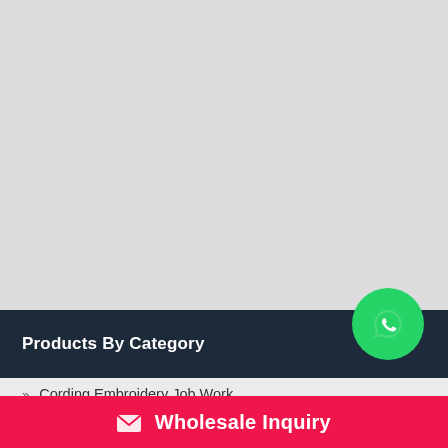[Figure (photo): Large light gray placeholder image area at the top of the page]
Products By Category
[Figure (logo): WhatsApp circular green button icon]
Cording Embroidery Job Work
Lace Work
Wholesale Inquiry